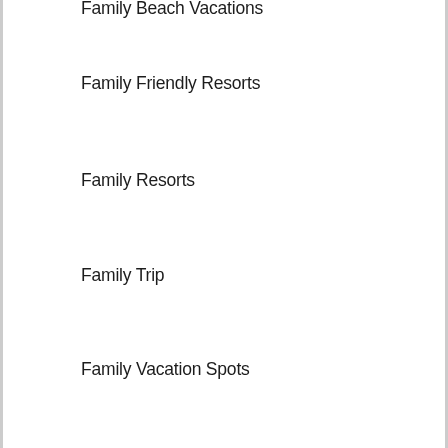Family Beach Vacations
Family Friendly Resorts
Family Resorts
Family Trip
Family Vacation Spots
Family Vacations
Fun Places To Go
Fun Vacations For Kids
Good Vacation Spots
Great Vacation Resorts
Great Vacations
Places To Travel